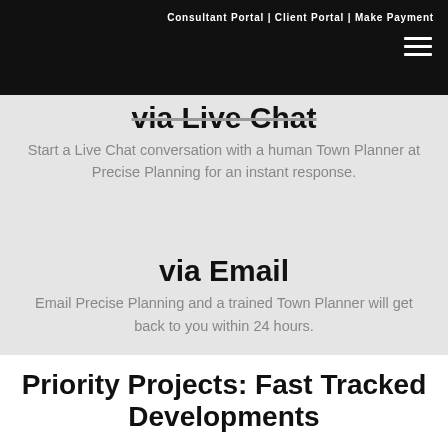Consultant Portal | Client Portal | Make Payment
via Live Chat
Start a Live Chat conversation with a human Town Planner at Precise Planning for an instant response.
via Email
Email Precise Planning and a trained Town Planner will get back to you within 24 hours.
Priority Projects: Fast Tracked Developments